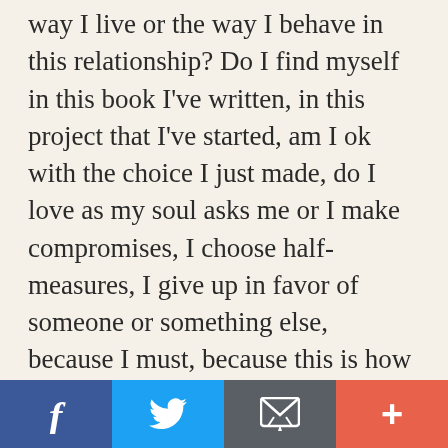way I live or the way I behave in this relationship? Do I find myself in this book I've written, in this project that I've started, am I ok with the choice I just made, do I love as my soul asks me or I make compromises, I choose half-measures, I give up in favor of someone or something else, because I must, because this is how it's done, because I don't see another way? Am I genuine in my relationships, in my interactions, in what I do, in what I create? Am I true to myself until the end? Think of all these things.
[Figure (infographic): Social sharing bar with four buttons: Facebook (dark blue, 'f'), Twitter (light blue, bird icon), Email (dark grey, envelope icon), More/Add (coral/orange-red, '+' icon)]